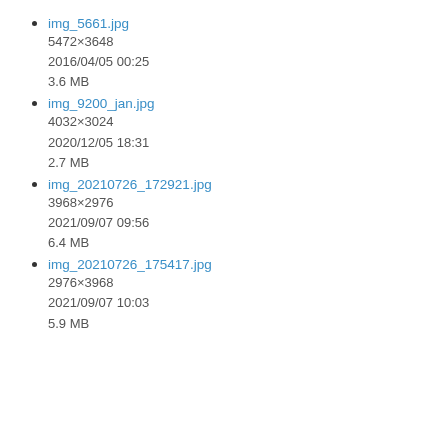img_5661.jpg
5472×3648
2016/04/05 00:25
3.6 MB
img_9200_jan.jpg
4032×3024
2020/12/05 18:31
2.7 MB
img_20210726_172921.jpg
3968×2976
2021/09/07 09:56
6.4 MB
img_20210726_175417.jpg
2976×3968
2021/09/07 10:03
5.9 MB